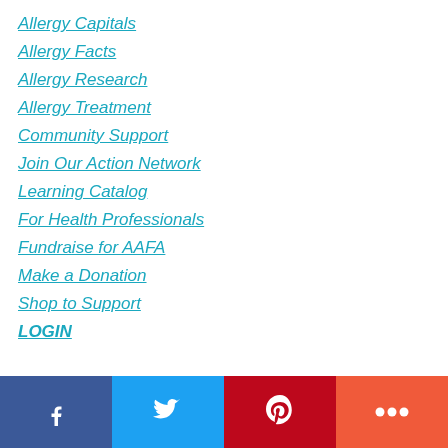Allergy Capitals
Allergy Facts
Allergy Research
Allergy Treatment
Community Support
Join Our Action Network
Learning Catalog
For Health Professionals
Fundraise for AAFA
Make a Donation
Shop to Support
LOGIN
[Figure (infographic): Social sharing bar with Facebook, Twitter, Pinterest, and More buttons]